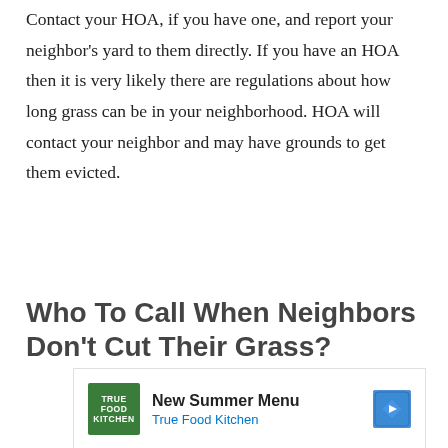Contact your HOA, if you have one, and report your neighbor's yard to them directly. If you have an HOA then it is very likely there are regulations about how long grass can be in your neighborhood. HOA will contact your neighbor and may have grounds to get them evicted.
Who To Call When Neighbors Don't Cut Their Grass?
[Figure (other): Advertisement for True Food Kitchen showing logo, 'New Summer Menu' headline, 'True Food Kitchen' subtext, a blue navigation arrow icon, play button triangle, and close X button]